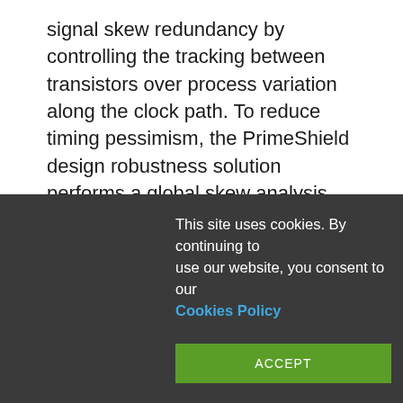signal skew redundancy by controlling the tracking between transistors over process variation along the clock path. To reduce timing pessimism, the PrimeShield design robustness solution performs a global skew analysis. The global skew analysis computes path robustness related to global and interconnect V_T skew.

Global V_T variations are strongly correlated within a single V_T class, but only partially correlated among different V_T classes. Applying both min/max timing
This site uses cookies. By continuing to use our website, you consent to our Cookies Policy
ACCEPT